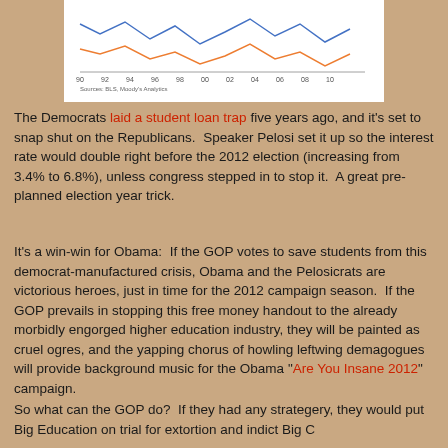[Figure (other): Partial view of a line chart with x-axis labels 90 92 94 96 98 00 02 04 06 08 10 and source note: Sources: BLS, Moody's Analytics]
The Democrats laid a student loan trap five years ago, and it's set to snap shut on the Republicans. Speaker Pelosi set it up so the interest rate would double right before the 2012 election (increasing from 3.4% to 6.8%), unless congress stepped in to stop it. A great pre-planned election year trick.
It's a win-win for Obama: If the GOP votes to save students from this democrat-manufactured crisis, Obama and the Pelosicrats are victorious heroes, just in time for the 2012 campaign season. If the GOP prevails in stopping this free money handout to the already morbidly engorged higher education industry, they will be painted as cruel ogres, and the yapping chorus of howling leftwing demagogues will provide background music for the Obama "Are You Insane 2012" campaign.
So what can the GOP do? If they had any strategery, they would put Big Education on trial for extortion and indict Big C...